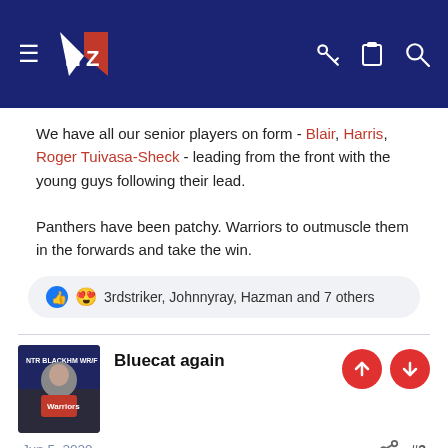NZ Warriors forum header
We have all our senior players on form - Blair, Harris, Roger Tuivasa-Sheck - leading from the front with the young guys following their lead.

Panthers have been patchy. Warriors to outmuscle them in the forwards and take the win.
3rdstriker, Johnnyray, Hazman and 7 others
Bluecat again
Jun 5, 2020
#3
I want a win
Everyone knows we can do it
I loved the six again rule last week. From memory Blair didn't give